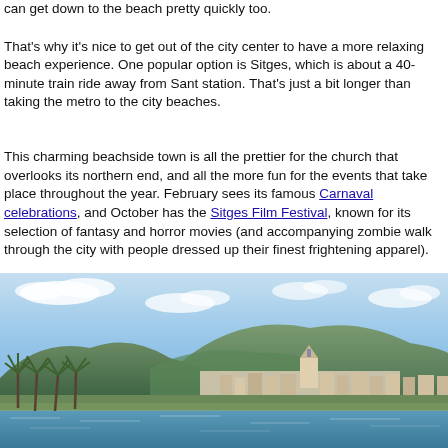can get down to the beach pretty quickly too.
That's why it's nice to get out of the city center to have a more relaxing beach experience. One popular option is Sitges, which is about a 40-minute train ride away from Sant station. That's just a bit longer than taking the metro to the city beaches.
This charming beachside town is all the prettier for the church that overlooks its northern end, and all the more fun for the events that take place throughout the year. February sees its famous Carnaval celebrations, and October has the Sitges Film Festival, known for its selection of fantasy and horror movies (and accompanying zombie walk through the city with people dressed up their finest frightening apparel).
[Figure (photo): Coastal view of Sitges showing the town, church on the hillside, palm trees along the waterfront, and blue sky above mountains]